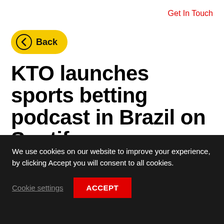Get In Touch
[Figure (other): Back navigation button — yellow pill-shaped button with left arrow icon and text 'Back']
KTO launches sports betting podcast in Brazil on Spotify
Published On: 25.03.2020
We use cookies on our website to improve your experience, by clicking Accept you will consent to all cookies.
Cookie settings
ACCEPT